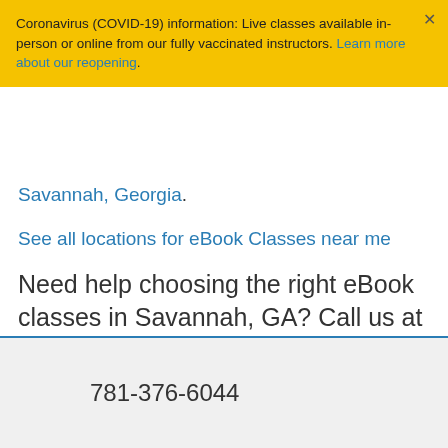Coronavirus (COVID-19) information: Live classes available in-person or online from our fully vaccinated instructors. Learn more about our reopening.
Savannah, Georgia.
See all locations for eBook Classes near me
Need help choosing the right eBook classes in Savannah, GA? Call us at 800-851-9237.
781-376-6044